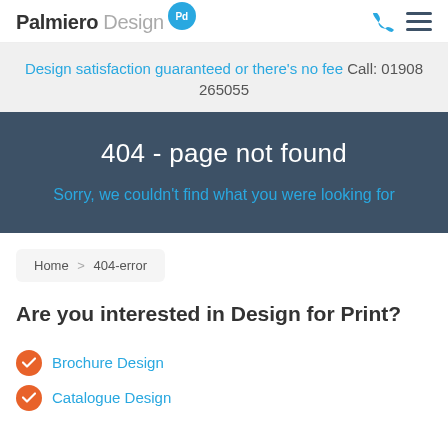Palmiero Design
Design satisfaction guaranteed or there's no fee   Call: 01908 265055
404 - page not found
Sorry, we couldn't find what you were looking for
Home > 404-error
Are you interested in Design for Print?
Brochure Design
Catalogue Design